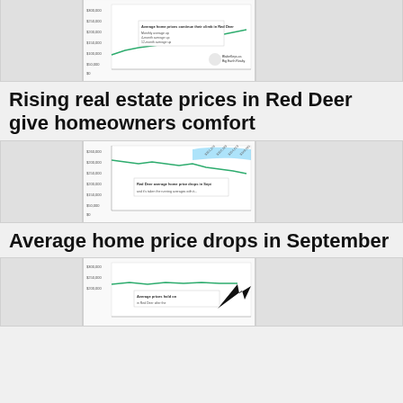[Figure (line-chart): Line chart showing average home prices continue their climb in Red Deer. Monthly average up, 4-month average up, 12-month average up. BlabeKeys.ca Big Earth Realty logo.]
Rising real estate prices in Red Deer give homeowners comfort
[Figure (line-chart): Line chart showing Red Deer average home price drops in Sept and it has taken the running averages with it.]
Average home price drops in September
[Figure (line-chart): Line chart showing average prices hold on in Red Deer after the...]